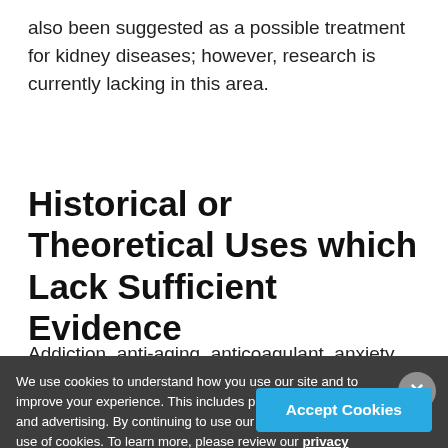also been suggested as a possible treatment for kidney diseases; however, research is currently lacking in this area.
Historical or Theoretical Uses which Lack Sufficient Evidence
Addiction, anti-aging, anticoagulant, anxiety, asthma, back pain, cardioprotection, cardiovascular diseases,
We use cookies to understand how you use our site and to improve your experience. This includes personalizing content and advertising. By continuing to use our site, you accept our use of cookies. To learn more, please review our privacy policy.
Accept Cookies